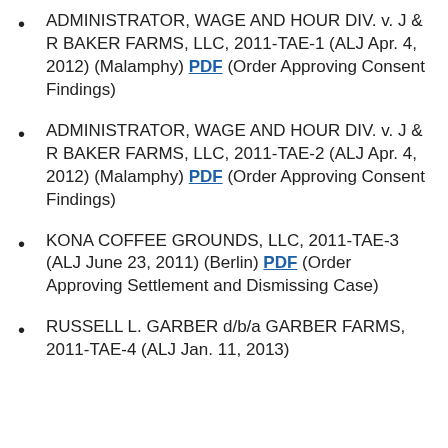ADMINISTRATOR, WAGE AND HOUR DIV. v. J & R BAKER FARMS, LLC, 2011-TAE-1 (ALJ Apr. 4, 2012) (Malamphy) PDF (Order Approving Consent Findings)
ADMINISTRATOR, WAGE AND HOUR DIV. v. J & R BAKER FARMS, LLC, 2011-TAE-2 (ALJ Apr. 4, 2012) (Malamphy) PDF (Order Approving Consent Findings)
KONA COFFEE GROUNDS, LLC, 2011-TAE-3 (ALJ June 23, 2011) (Berlin) PDF (Order Approving Settlement and Dismissing Case)
RUSSELL L. GARBER d/b/a GARBER FARMS, 2011-TAE-4 (ALJ Jan. 11, 2013)